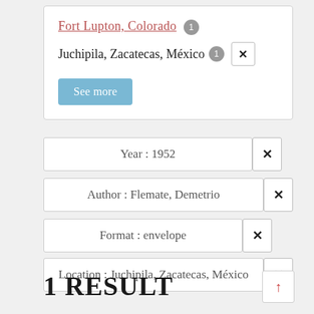Fort Lupton, Colorado 1
Juchipila, Zacatecas, México 1 ×
See more
Year : 1952 ×
Author : Flemate, Demetrio ×
Format : envelope ×
Location : Juchipila, Zacatecas, México ×
1 RESULT